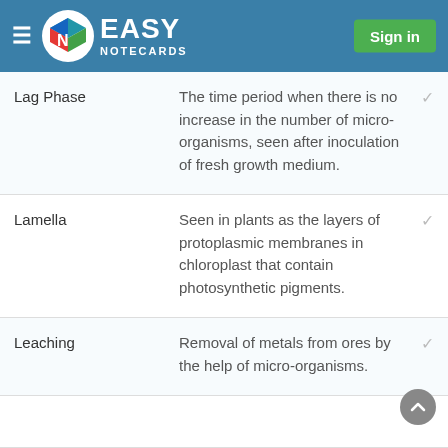Easy Notecards — Sign in
Lag Phase — The time period when there is no increase in the number of micro-organisms, seen after inoculation of fresh growth medium.
Lamella — Seen in plants as the layers of protoplasmic membranes in chloroplast that contain photosynthetic pigments.
Leaching — Removal of metals from ores by the help of micro-organisms.